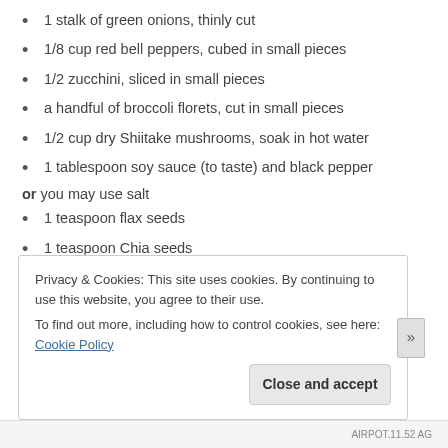1 stalk of green onions, thinly cut
1/8 cup red bell peppers, cubed in small pieces
1/2 zucchini, sliced in small pieces
a handful of broccoli florets, cut in small pieces
1/2 cup dry Shiitake mushrooms, soak in hot water
1 tablespoon soy sauce (to taste) and black pepper or you may use salt
1 teaspoon flax seeds
1 teaspoon Chia seeds
lemon wedge
Privacy & Cookies: This site uses cookies. By continuing to use this website, you agree to their use. To find out more, including how to control cookies, see here: Cookie Policy
AIRPOT.11.52 AG